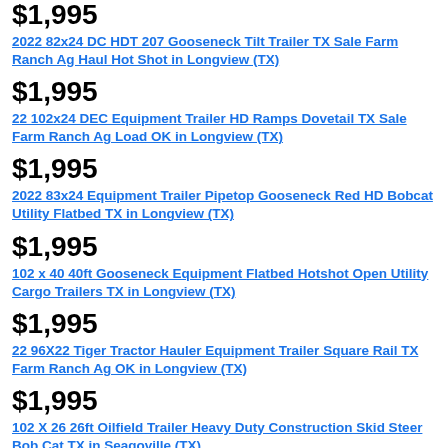$1,995
2022 82x24 DC HDT 207 Gooseneck Tilt Trailer TX Sale Farm Ranch Ag Haul Hot Shot in Longview (TX)
$1,995
22 102x24 DEC Equipment Trailer HD Ramps Dovetail TX Sale Farm Ranch Ag Load OK in Longview (TX)
$1,995
2022 83x24 Equipment Trailer Pipetop Gooseneck Red HD Bobcat Utility Flatbed TX in Longview (TX)
$1,995
102 x 40 40ft Gooseneck Equipment Flatbed Hotshot Open Utility Cargo Trailers TX in Longview (TX)
$1,995
22 96X22 Tiger Tractor Hauler Equipment Trailer Square Rail TX Farm Ranch Ag OK in Longview (TX)
$1,995
102 X 26 26ft Oilfield Trailer Heavy Duty Construction Skid Steer Bob Cat TX in Seagoville (TX)